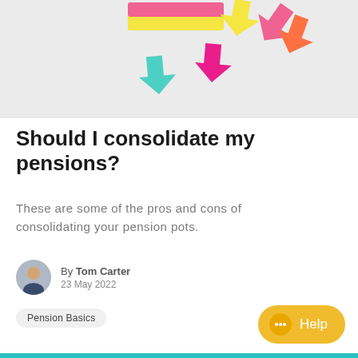[Figure (photo): Colorful arrow-shaped sticky notes on a white/light grey background — pink, yellow, teal, and orange arrows pointing upward.]
Should I consolidate my pensions?
These are some of the pros and cons of consolidating your pension pots.
By Tom Carter
23 May 2022
Pension Basics